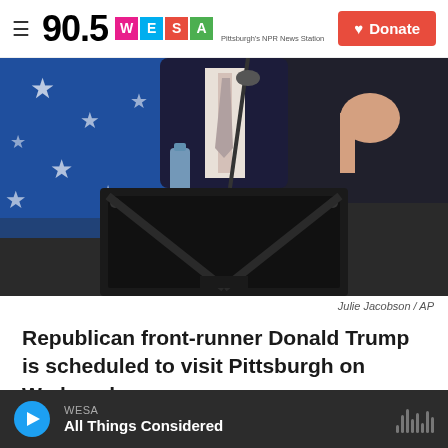90.5 WESA Pittsburgh's NPR News Station — Donate
[Figure (photo): A person in a dark suit standing at a podium with a microphone, hand raised, against a blue star-patterned background]
Julie Jacobson / AP
Republican front-runner Donald Trump is scheduled to visit Pittsburgh on Wednesday.
WESA
All Things Considered